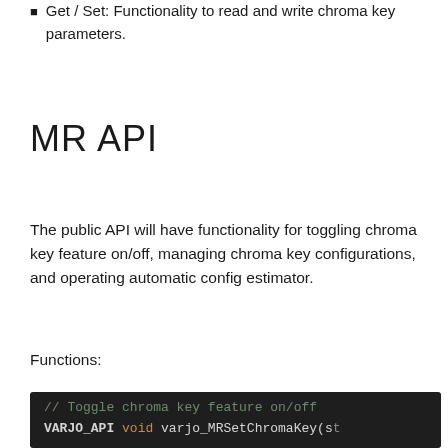Get / Set: Functionality to read and write chroma key parameters.
MR API
The public API will have functionality for toggling chroma key feature on/off, managing chroma key configurations, and operating automatic config estimator.
Functions:
[Figure (screenshot): Dark-themed code block showing: // Toggle chroma key feature on/off
VARJO_API void varjo_MRSetChromaKey(st]